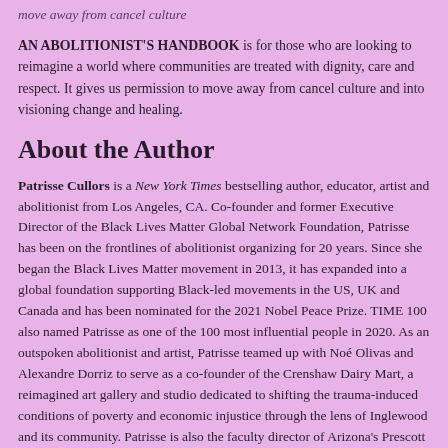move away from cancel culture
AN ABOLITIONIST'S HANDBOOK is for those who are looking to reimagine a world where communities are treated with dignity, care and respect. It gives us permission to move away from cancel culture and into visioning change and healing.
About the Author
Patrisse Cullors is a New York Times bestselling author, educator, artist and abolitionist from Los Angeles, CA. Co-founder and former Executive Director of the Black Lives Matter Global Network Foundation, Patrisse has been on the frontlines of abolitionist organizing for 20 years. Since she began the Black Lives Matter movement in 2013, it has expanded into a global foundation supporting Black-led movements in the US, UK and Canada and has been nominated for the 2021 Nobel Peace Prize. TIME 100 also named Patrisse as one of the 100 most influential people in 2020. As an outspoken abolitionist and artist, Patrisse teamed up with Noé Olivas and Alexandre Dorriz to serve as a co-founder of the Crenshaw Dairy Mart, a reimagined art gallery and studio dedicated to shifting the trauma-induced conditions of poverty and economic injustice through the lens of Inglewood and its community. Patrisse is also the faculty director of Arizona's Prescott College, a new Social and Environmental Arts Practice MFA program, which she developed nesting a curriculum focused on the intersection of art, social justice and community organizing that is first of